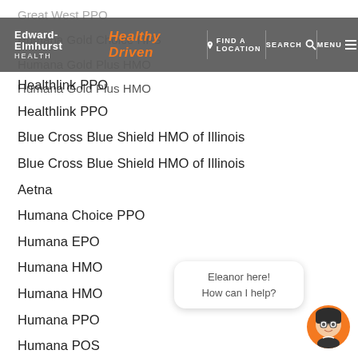Edward-Elmhurst HEALTH | Healthy Driven | FIND A LOCATION | SEARCH | MENU
Great West PPO
Humana Gold Choice HFS
Humana Gold Plus HMO
Humana Gold Plus HMO
Healthlink PPO
Healthlink PPO
Blue Cross Blue Shield HMO of Illinois
Blue Cross Blue Shield HMO of Illinois
Aetna
Humana Choice PPO
Humana EPO
Humana HMO
Humana HMO
Humana PPO
Humana POS
Multi Plan
Blue Cross Blue Advantage HMO
Blue Cross Blue Advantage HMO
Eleanor here! How can I help?